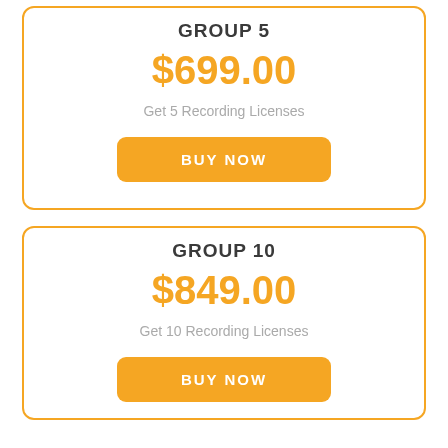GROUP 5
$699.00
Get 5 Recording Licenses
BUY NOW
GROUP 10
$849.00
Get 10 Recording Licenses
BUY NOW